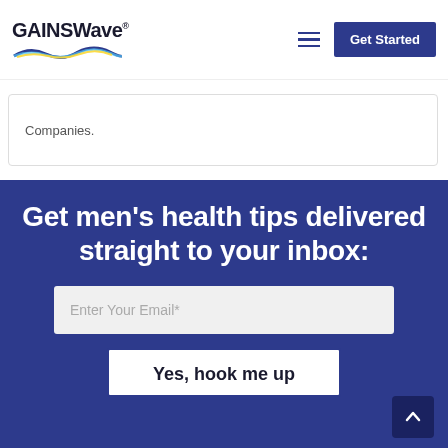[Figure (logo): GAINSWave logo with wave graphic underneath]
Companies.
Get men's health tips delivered straight to your inbox:
Enter Your Email*
Yes, hook me up